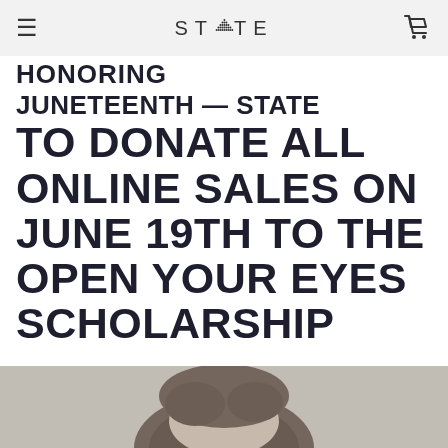STATE (logo with triangle) — navigation bar with hamburger menu and cart icon
HONORING JUNETEENTH — STATE TO DONATE ALL ONLINE SALES ON JUNE 19TH TO THE OPEN YOUR EYES SCHOLARSHIP
[Figure (photo): Black and white photograph of a person, partially visible, showing the top of their head with curly hair]